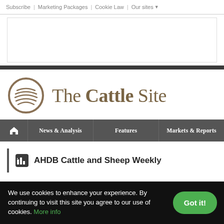Subscribe | Marketing Packages | Cookie Law | Our sites ▼
[Figure (other): Advertisement banner placeholder (white rectangle with border)]
[Figure (logo): The Cattle Site logo — circular globe icon with wavy lines beside the text 'The Cattle Site' in brown/tan serif font]
🏠 News & Analysis | Features | Markets & Reports
AHDB Cattle and Sheep Weekly
We use cookies to enhance your experience. By continuing to visit this site you agree to our use of cookies. More info  Got it!